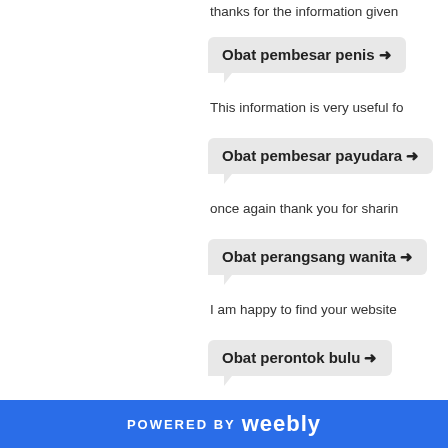thanks for the information given
Obat pembesar penis →
This information is very useful fo
Obat pembesar payudara →
once again thank you for sharin
Obat perangsang wanita →
I am happy to find your website
Obat perontok bulu →
I think is very valuable to be abl
POWERED BY weebly